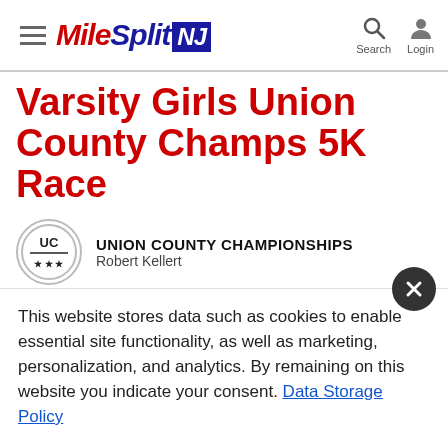MileSplit NJ — Search | Login
Varsity Girls Union County Champs 5K Race
UNION COUNTY CHAMPIONSHIPS
Robert Kellert
This website stores data such as cookies to enable essential site functionality, as well as marketing, personalization, and analytics. By remaining on this website you indicate your consent. Data Storage Policy